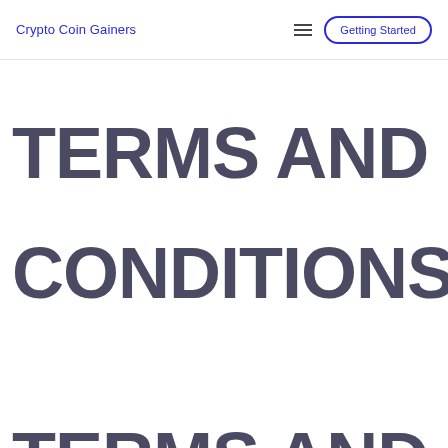Crypto Coin Gainers    ≡    Getting Started
TERMS AND CONDITIONS